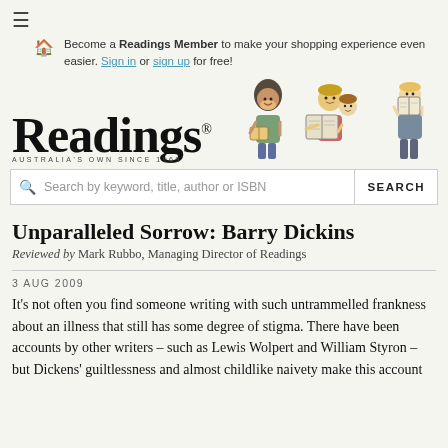≡ (menu icon)
Become a Readings Member to make your shopping experience even easier. Sign in or sign up for free!
[Figure (logo): Readings logo with 'Readings' in large serif font, superscript registered trademark symbol, 'Australia's Own Since 1969' tagline, and illustrated cartoon characters reading books]
Search by keyword, title, author or ISBN  SEARCH
Unparalleled Sorrow: Barry Dickins
Reviewed by Mark Rubbo, Managing Director of Readings
3 AUG 2009
It's not often you find someone writing with such untrammelled frankness about an illness that still has some degree of stigma. There have been accounts by other writers – such as Lewis Wolpert and William Styron – but Dickens' guiltlessness and almost childlike naivety make this account